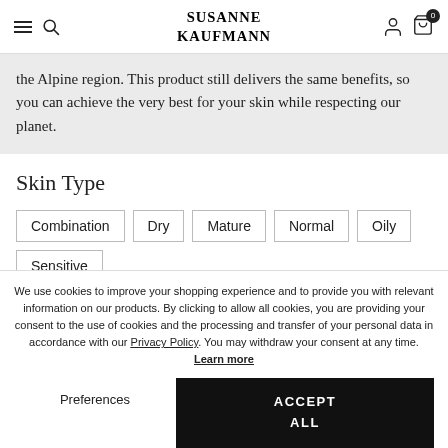SUSANNE KAUFMANN
the Alpine region. This product still delivers the same benefits, so you can achieve the very best for your skin while respecting our planet.
Skin Type
Combination
Dry
Mature
Normal
Oily
Sensitive
We use cookies to improve your shopping experience and to provide you with relevant information on our products. By clicking to allow all cookies, you are providing your consent to the use of cookies and the processing and transfer of your personal data in accordance with our Privacy Policy. You may withdraw your consent at any time. Learn more
Preferences
ACCEPT ALL